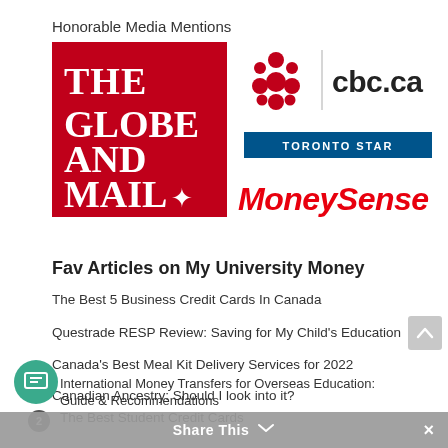Honorable Media Mentions
[Figure (logo): The Globe and Mail logo - red square with white serif text reading THE GLOBE AND MAIL with a maple leaf star]
[Figure (logo): CBC.ca logo with red gem/diamond CBC icon and cbc.ca text]
[Figure (logo): Toronto Star logo - blue rectangle with white text TORONTO STAR]
[Figure (logo): MoneySense logo in red bold italic text]
Fav Articles on My University Money
The Best 5 Business Credit Cards In Canada
Questrade RESP Review: Saving for My Child's Education
Canada's Best Meal Kit Delivery Services for 2022
Canadian Ancestry: Should I look into it?
The Best Student Credit Cards
International Money Transfers for Overseas Education: Guide & Recommendations
Share This